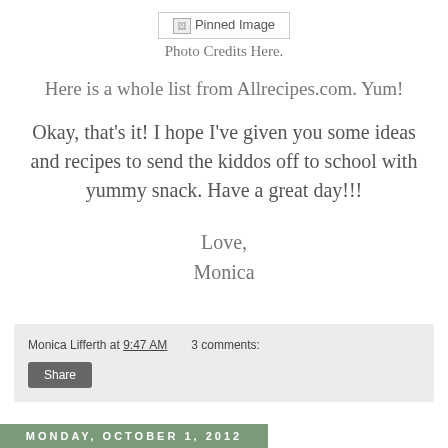[Figure (photo): Broken/pinned image placeholder with border]
Photo Credits Here.
Here is a whole list from Allrecipes.com. Yum!
Okay, that's it! I hope I've given you some ideas and recipes to send the kiddos off to school with yummy snack. Have a great day!!!
Love,
Monica
Monica Lifferth at 9:47 AM   3 comments:
Share
Monday, October 1, 2012